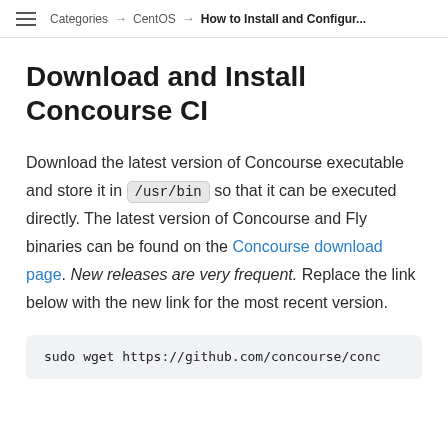Categories → CentOS → How to Install and Configur...
Download and Install Concourse CI
Download the latest version of Concourse executable and store it in /usr/bin so that it can be executed directly. The latest version of Concourse and Fly binaries can be found on the Concourse download page. New releases are very frequent. Replace the link below with the new link for the most recent version.
sudo wget https://github.com/concourse/conc